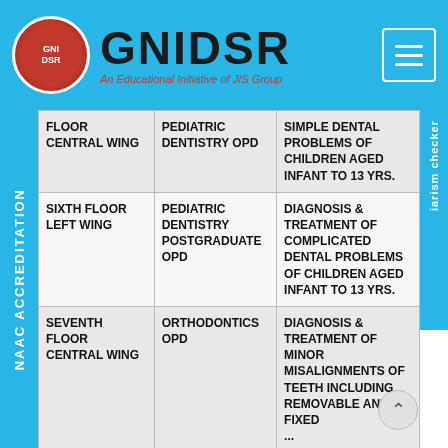GNIDSR — An Educational Initiative of JIS Group
| Location | OPD | Services |
| --- | --- | --- |
| FLOOR CENTRAL WING | PEDIATRIC DENTISTRY OPD | SIMPLE DENTAL PROBLEMS OF CHILDREN AGED INFANT TO 13 YRS. |
| SIXTH FLOOR LEFT WING | PEDIATRIC DENTISTRY POSTGRADUATE OPD | DIAGNOSIS & TREATMENT OF COMPLICATED DENTAL PROBLEMS OF CHILDREN AGED INFANT TO 13 YRS. |
| SEVENTH FLOOR CENTRAL WING | ORTHODONTICS OPD | DIAGNOSIS & TREATMENT OF MINOR MISALIGNMENTS OF TEETH INCLUDING REMOVABLE AND FIXED ORTHODONTICS |